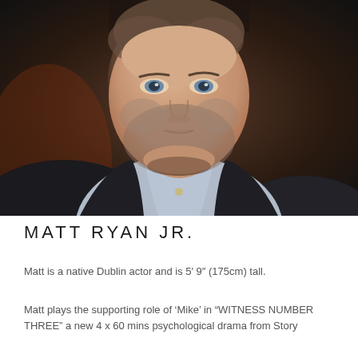[Figure (photo): Headshot portrait photo of Matt Ryan Jr., a heavyset man with short hair and beard stubble, blue eyes, wearing a light grey button-up shirt and dark jacket, photographed against a blurred dark brown background.]
MATT RYAN JR.
Matt is a native Dublin actor and is 5′ 9″ (175cm) tall.
Matt plays the supporting role of ‘Mike’ in “WITNESS NUMBER THREE” a new 4 x 60 mins psychological drama from Story